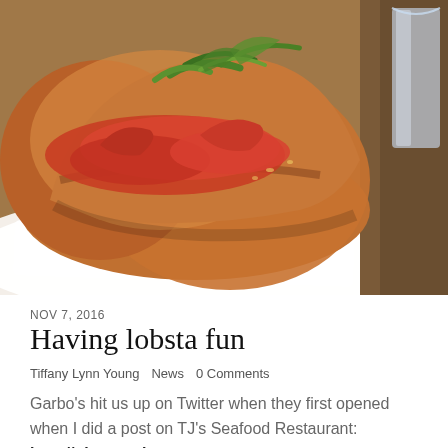[Figure (photo): Close-up photograph of a lobster roll on a white plate, with golden-brown toasted bun filled with red lobster meat and green herb garnish, on a wooden table with a glass visible on the right side.]
NOV 7, 2016
Having lobsta fun
Tiffany Lynn Young   News   0 Comments
Garbo's hit us up on Twitter when they first opened when I did a post on TJ's Seafood Restaurant: http://ohspooning.com/2013/12/29/the-search-for-the-lobster-roll/. I always wanted to